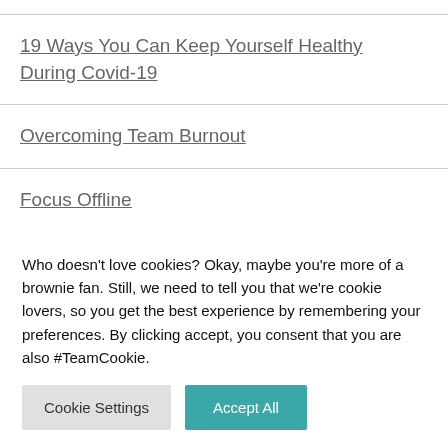19 Ways You Can Keep Yourself Healthy During Covid-19
Overcoming Team Burnout
Focus Offline
I'VE DEVOTED MY LIFE TO HELPING PEOPLE
Who doesn't love cookies? Okay, maybe you're more of a brownie fan. Still, we need to tell you that we're cookie lovers, so you get the best experience by remembering your preferences. By clicking accept, you consent that you are also #TeamCookie.